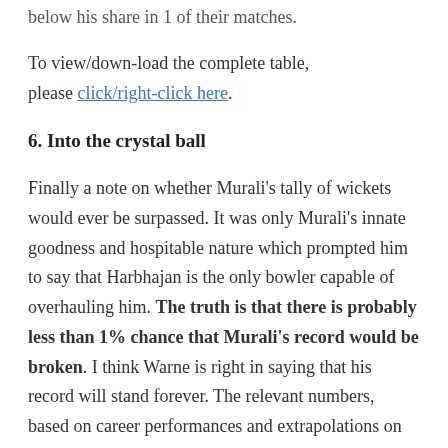below his share in 1 of their matches.
To view/down-load the complete table, please click/right-click here.
6. Into the crystal ball
Finally a note on whether Murali's tally of wickets would ever be surpassed. It was only Murali's innate goodness and hospitable nature which prompted him to say that Harbhajan is the only bowler capable of overhauling him. The truth is that there is probably less than 1% chance that Murali's record would be broken. I think Warne is right in saying that his record will stand forever. The relevant numbers, based on career performances and extrapolations on continuing their performances forever, are given below.
Harbhajan (12y/84t/355w) would take another